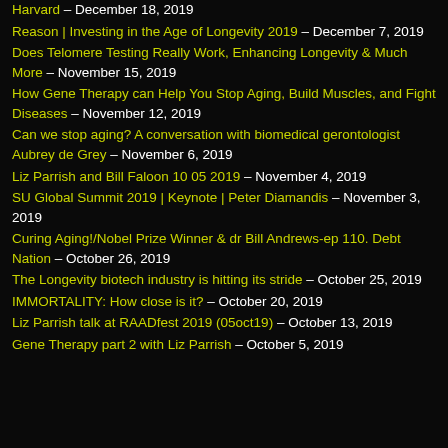Harvard – December 18, 2019
Reason | Investing in the Age of Longevity 2019 – December 7, 2019
Does Telomere Testing Really Work, Enhancing Longevity & Much More – November 15, 2019
How Gene Therapy can Help You Stop Aging, Build Muscles, and Fight Diseases – November 12, 2019
Can we stop aging? A conversation with biomedical gerontologist Aubrey de Grey – November 6, 2019
Liz Parrish and Bill Faloon 10 05 2019 – November 4, 2019
SU Global Summit 2019 | Keynote | Peter Diamandis – November 3, 2019
Curing Aging!/Nobel Prize Winner & dr Bill Andrews-ep 110. Debt Nation – October 26, 2019
The Longevity biotech industry is hitting its stride – October 25, 2019
IMMORTALITY: How close is it? – October 20, 2019
Liz Parrish talk at RAADfest 2019 (05oct19) – October 13, 2019
Gene Therapy part 2 with Liz Parrish – October 5, 2019